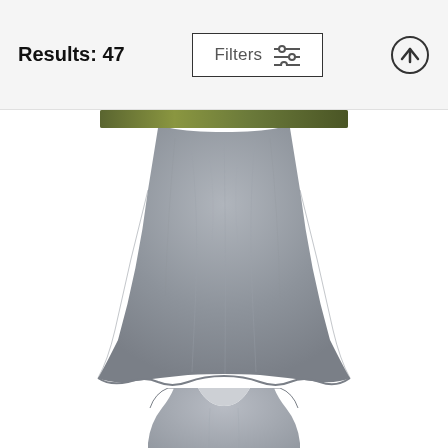Results: 47  Filters
[Figure (photo): Gray flared skirt garment hanging, partially cropped at top showing decorative band, gray heathered fabric flaring out at hemline with wavy edge]
Three Rivers Petroglyphs #39
Blake Webster
$20
[Figure (photo): Gray heathered tank top or sleeveless shirt with open back, partially visible at bottom of page]